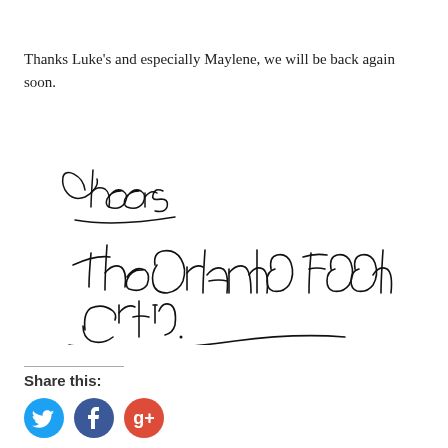Thanks Luke’s and especially Maylene, we will be back again soon.
[Figure (illustration): Handwritten cursive signature reading 'Cheers' followed by 'The Orlando Food Critic.']
Share this:
[Figure (other): Three social media icon buttons: Twitter (blue), Facebook (dark blue), Google+ (red)]